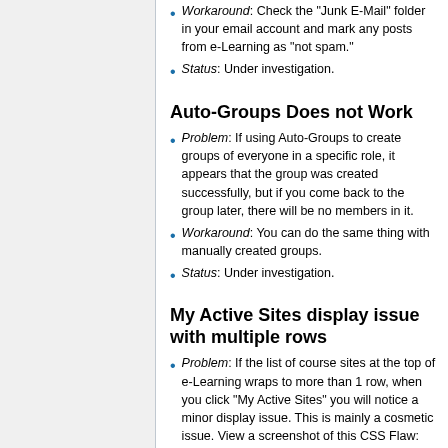Workaround: Check the "Junk E-Mail" folder in your email account and mark any posts from e-Learning as "not spam."
Status: Under investigation.
Auto-Groups Does not Work
Problem: If using Auto-Groups to create groups of everyone in a specific role, it appears that the group was created successfully, but if you come back to the group later, there will be no members in it.
Workaround: You can do the same thing with manually created groups.
Status: Under investigation.
My Active Sites display issue with multiple rows
Problem: If the list of course sites at the top of e-Learning wraps to more than 1 row, when you click "My Active Sites" you will notice a minor display issue. This is mainly a cosmetic issue. View a screenshot of this CSS Flaw: